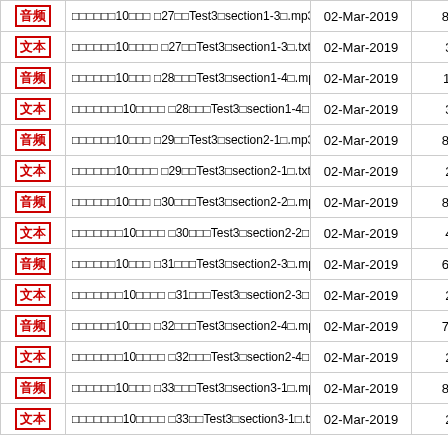| Type | Filename | Date | Size |
| --- | --- | --- | --- |
| 音频 | □□□□□□10□□□ □27□□Test3□section1-3□.mp3 | 02-Mar-2019 | 869K |
| 文本 | □□□□□□10□□□□ □27□□Test3□section1-3□.txt | 02-Mar-2019 | 3.2K |
| 音频 | □□□□□□10□□□ □28□□□Test3□section1-4□.mp3 | 02-Mar-2019 | 1.1M |
| 文本 | □□□□□□□10□□□□ □28□□□Test3□section1-4□.txt | 02-Mar-2019 | 3.6K |
| 音频 | □□□□□□10□□□ □29□□Test3□section2-1□.mp3 | 02-Mar-2019 | 878K |
| 文本 | □□□□□□10□□□□ □29□□Test3□section2-1□.txt | 02-Mar-2019 | 2.9K |
| 音频 | □□□□□□10□□□ □30□□□Test3□section2-2□.mp3 | 02-Mar-2019 | 810K |
| 文本 | □□□□□□□10□□□□ □30□□□Test3□section2-2□.txt | 02-Mar-2019 | 4.1K |
| 音频 | □□□□□□10□□□ □31□□□Test3□section2-3□.mp3 | 02-Mar-2019 | 693K |
| 文本 | □□□□□□□10□□□□ □31□□□Test3□section2-3□.txt | 02-Mar-2019 | 2.6K |
| 音频 | □□□□□□10□□□ □32□□□Test3□section2-4□.mp3 | 02-Mar-2019 | 709K |
| 文本 | □□□□□□□10□□□□ □32□□□Test3□section2-4□.txt | 02-Mar-2019 | 2.3K |
| 音频 | □□□□□□10□□□ □33□□□Test3□section3-1□.mp3 | 02-Mar-2019 | 863K |
| 文本 | □□□□□□□10□□□□ □33□□Test3□section3-1□.txt | 02-Mar-2019 | 2.9K |